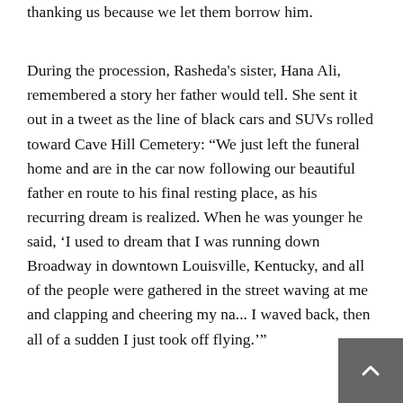thanking us because we let them borrow him.
During the procession, Rasheda's sister, Hana Ali, remembered a story her father would tell. She sent it out in a tweet as the line of black cars and SUVs rolled toward Cave Hill Cemetery: “We just left the funeral home and are in the car now following our beautiful father en route to his final resting place, as his recurring dream is realized. When he was younger he said, 'I used to dream that I was running down Broadway in downtown Louisville, Kentucky, and all of the people were gathered in the street waving at me and clapping and cheering my na... I waved back, then all of a sudden I just took off flying.'”